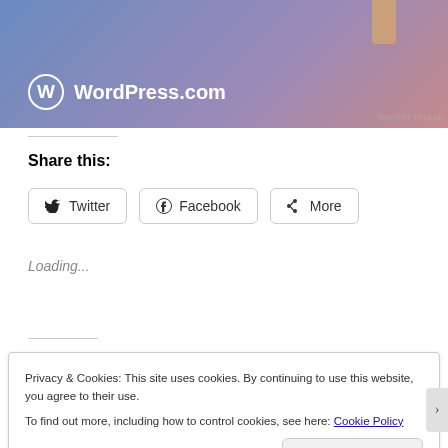[Figure (screenshot): WordPress.com advertisement banner with gradient blue-purple-pink background and a tan vertical bar at top right, WordPress logo and text 'WordPress.com' at bottom left]
REPORT THIS AD
Share this:
Twitter
Facebook
More
Loading...
Privacy & Cookies: This site uses cookies. By continuing to use this website, you agree to their use.
To find out more, including how to control cookies, see here: Cookie Policy
Close and accept